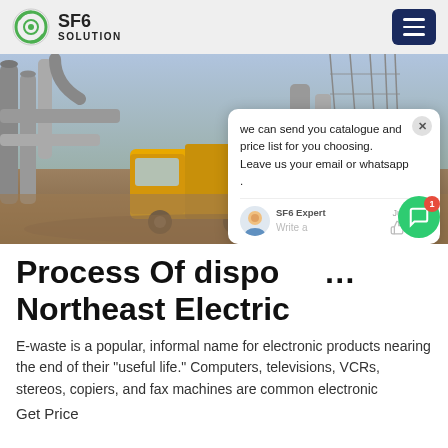SF6 SOLUTION
[Figure (photo): Industrial outdoor scene with a yellow truck and large metal pipes/equipment at an electrical substation or industrial facility]
Process Of disposal Northeast Electric
E-waste is a popular, informal name for electronic products nearing the end of their "useful life." Computers, televisions, VCRs, stereos, copiers, and fax machines are common electronic
Get Price